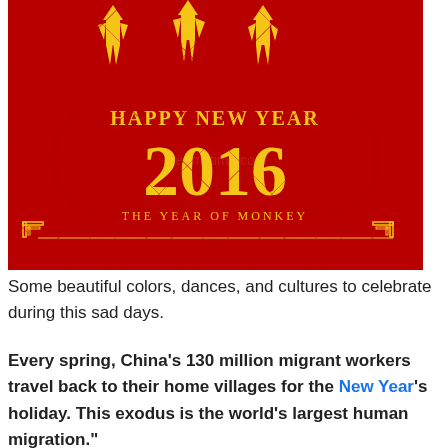[Figure (illustration): Chinese New Year 2016 Year of the Monkey greeting card image with red background, gold monkey figures at top, text reading HAPPY NEW YEAR 2016 THE YEAR OF MONKEY in gold. Dreamstime watermark on right side.]
Some beautiful colors, dances, and cultures to celebrate during this sad days.
Every spring, China's 130 million migrant workers travel back to their home villages for the New Year's holiday. This exodus is the world's largest human migration."